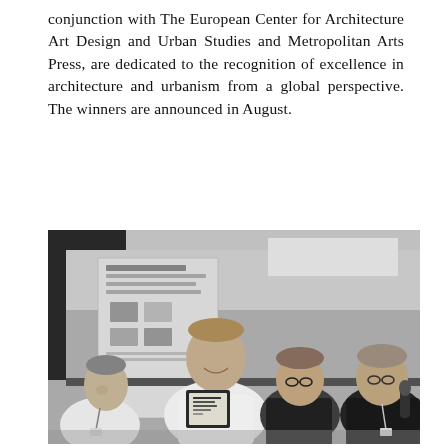conjunction with The European Center for Architecture Art Design and Urban Studies and Metropolitan Arts Press, are dedicated to the recognition of excellence in architecture and urbanism from a global perspective. The winners are announced in August.
[Figure (photo): Black and white photograph of four men at an award ceremony. A man in a white shirt is holding a framed award plaque. Other men stand beside him, one holding a microphone. In the background, exhibition posters are visible on the wall.]